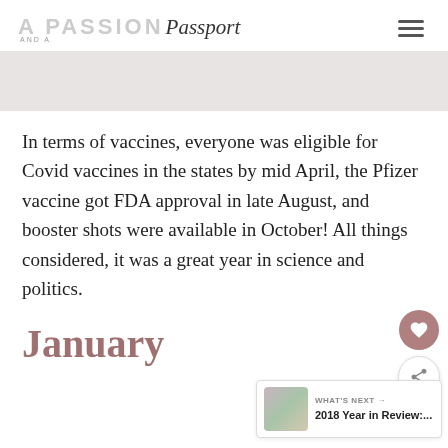A PASSION AND A Passport
[Figure (photo): Gray rectangular image placeholder banner]
In terms of vaccines, everyone was eligible for Covid vaccines in the states by mid April, the Pfizer vaccine got FDA approval in late August, and booster shots were available in October! All things considered, it was a great year in science and politics.
January